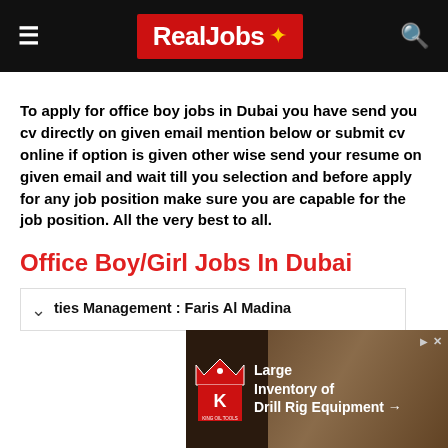RealJobs
To apply for office boy jobs in Dubai you have send you cv directly on given email mention below or submit cv online if option is given other wise send your resume on given email and wait till you selection and before apply for any job position make sure you are capable for the job position. All the very best to all.
Office Boy/Girl Jobs In Dubai
ties Management : Faris Al Madina
[Figure (screenshot): Advertisement banner for King Oil Tools: Large Inventory of Drill Rig Equipment with King logo and background photo of drill equipment]